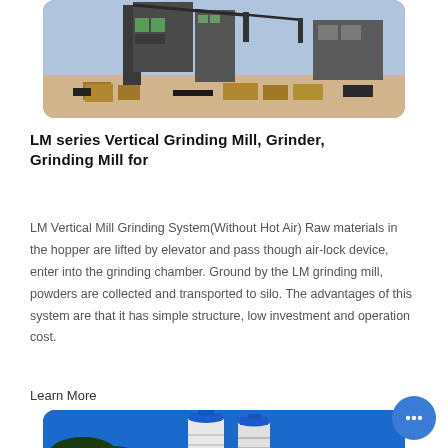[Figure (photo): Industrial grinding mill facility with large machinery, metal structures, cranes, and wooden crates on a sandy ground under a clear sky. Image has rounded corners.]
LM series Vertical Grinding Mill, Grinder, Grinding Mill for
LM Vertical Mill Grinding System(Without Hot Air) Raw materials in the hopper are lifted by elevator and pass though air-lock device, enter into the grinding chamber. Ground by the LM grinding mill, powders are collected and transported to silo. The advantages of this system are that it has simple structure, low investment and operation cost.
Learn More
[Figure (photo): Two white industrial silos with blue tops against a bright blue sky with some trees in the background. Image has rounded top corners.]